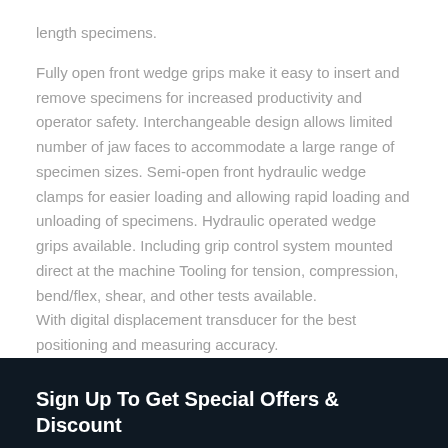length specimens.
Fully open front wedge grips make it easy to insert and remove specimens for increased productivity and operator safety. Interchangeable design allows limited number of jaw faces to accommodate a large range of specimen sizes. Semi-open front hydraulic wedge clamps for easier loading and allowing rapid loading and unloading of specimens. Hydraulic operated wedge grips available. Including grip control system mounted direct at the machine Tooling for tension, compression, bend/flex, shear, and other tests available.
With digital displacement transducer for the best positioning and measuring accuracy.
Sign Up To Get Special Offers & Discount
The subscription service is one of the most available. Please check...